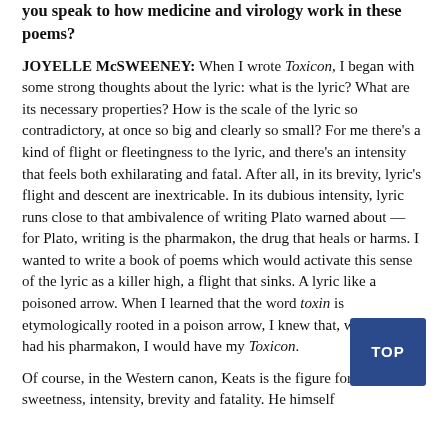you speak to how medicine and virology work in these poems?
JOYELLE McSWEENEY: When I wrote Toxicon, I began with some strong thoughts about the lyric: what is the lyric? What are its necessary properties? How is the scale of the lyric so contradictory, at once so big and clearly so small? For me there's a kind of flight or fleetingness to the lyric, and there's an intensity that feels both exhilarating and fatal. After all, in its brevity, lyric's flight and descent are inextricable. In its dubious intensity, lyric runs close to that ambivalence of writing Plato warned about — for Plato, writing is the pharmakon, the drug that heals or harms. I wanted to write a book of poems which would activate this sense of the lyric as a killer high, a flight that sinks. A lyric like a poisoned arrow. When I learned that the word toxin is etymologically rooted in a poison arrow, I knew that, where Plato had his pharmakon, I would have my Toxicon.
Of course, in the Western canon, Keats is the figure for lyric's sweetness, intensity, brevity and fatality. He himself